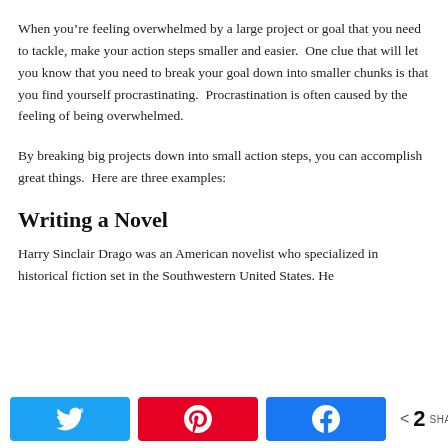When you're feeling overwhelmed by a large project or goal that you need to tackle, make your action steps smaller and easier.  One clue that will let you know that you need to break your goal down into smaller chunks is that you find yourself procrastinating.  Procrastination is often caused by the feeling of being overwhelmed.
By breaking big projects down into small action steps, you can accomplish great things.  Here are three examples:
Writing a Novel
Harry Sinclair Drago was an American novelist who specialized in historical fiction set in the Southwestern United States. He [continues below]